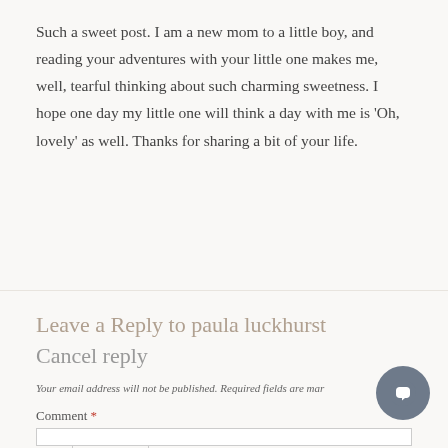Such a sweet post. I am a new mom to a little boy, and reading your adventures with your little one makes me, well, tearful thinking about such charming sweetness. I hope one day my little one will think a day with me is 'Oh, lovely' as well. Thanks for sharing a bit of your life.
Reply
Leave a Reply to paula luckhurst   Cancel reply
Your email address will not be published. Required fields are mar
Comment *